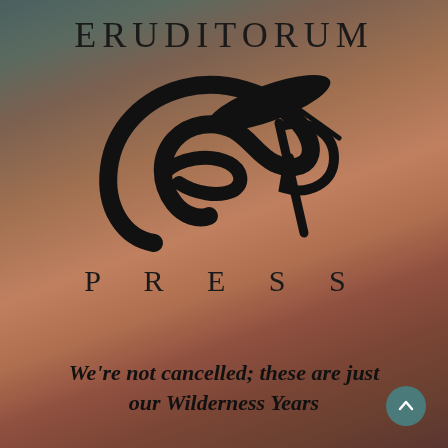ERUDITORUM
[Figure (logo): Eruditorum Press stylized EP logo — a large sweeping cursive E combined with a P, in black, with a diagonal slash accent]
PRESS
We're not cancelled; these are just our Wilderness Years